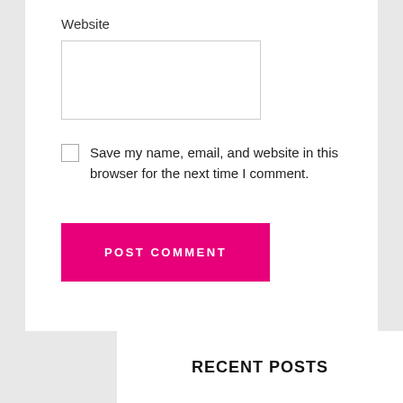Website
Save my name, email, and website in this browser for the next time I comment.
POST COMMENT
RECENT POSTS